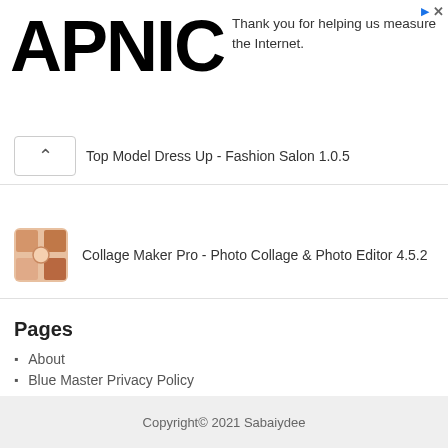[Figure (logo): APNIC logo in large bold black text]
Thank you for helping us measure the Internet.
Top Model Dress Up - Fashion Salon 1.0.5
Collage Maker Pro - Photo Collage & Photo Editor 4.5.2
Pages
About
Blue Master Privacy Policy
Contact
Disclaimer
Privacy Policy
Terms & Conditions
Copyright© 2021 Sabaiydee